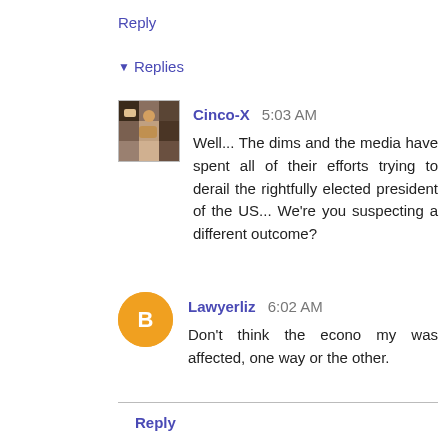Reply
▾ Replies
Cinco-X 5:03 AM
Well... The dims and the media have spent all of their efforts trying to derail the rightfully elected president of the US... We're you suspecting a different outcome?
Lawyerliz 6:02 AM
Don't think the econo my was affected, one way or the other.
Reply
Lawyerliz 4:47 AM
Santa Fe passing sugar tax to pay for more early childhood